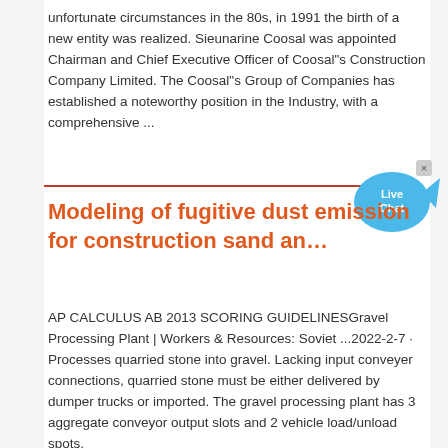unfortunate circumstances in the 80s, in 1991 the birth of a new entity was realized. Sieunarine Coosal was appointed Chairman and Chief Executive Officer of Coosal"s Construction Company Limited. The Coosal"s Group of Companies has established a noteworthy position in the Industry, with a comprehensive ...
[Figure (other): Live Chat button/widget: a blue speech bubble icon with 'Live Chat' text in white, with a small 'x' close button in the top right corner]
Modeling of fugitive dust emission for construction sand an…
AP CALCULUS AB 2013 SCORING GUIDELINESGravel Processing Plant | Workers & Resources: Soviet ...2022-2-7 · Processes quarried stone into gravel. Lacking input conveyer connections, quarried stone must be either delivered by dumper trucks or imported. The gravel processing plant has 3 aggregate conveyor output slots and 2 vehicle load/unload spots.